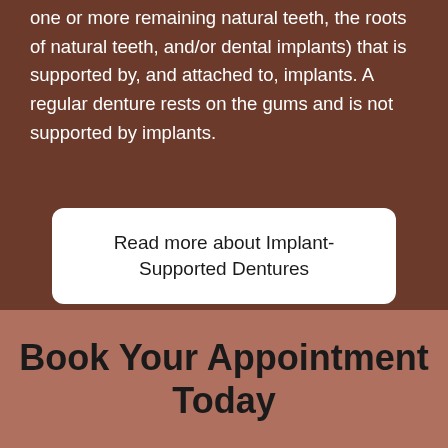one or more remaining natural teeth, the roots of natural teeth, and/or dental implants) that is supported by, and attached to, implants. A regular denture rests on the gums and is not supported by implants.
Read more about Implant-Supported Dentures
Book Your Appointment Today